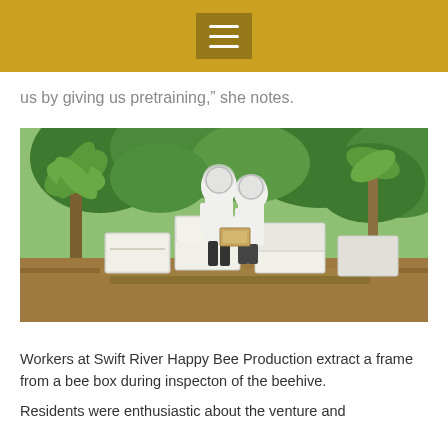≡
us by giving us pretraining,” she notes.
[Figure (photo): Two beekeepers in white protective suits and veiled hats inspecting beehive boxes at Swift River Happy Bee Production. Multiple white wooden hive boxes are stacked on wooden pallets and concrete blocks. Tropical vegetation including banana trees and dense green foliage is visible in the background. The ground is bare reddish-brown earth.]
Workers at Swift River Happy Bee Production extract a frame from a bee box during inspecton of the beehive.
Residents were enthusiastic about the venture and